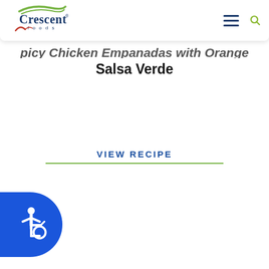Crescent Foods — navigation header with logo, hamburger menu, and search icon
Spicy Chicken Empanadas with Orange Salsa Verde
VIEW RECIPE
[Figure (logo): Accessibility wheelchair icon badge in blue rounded rectangle at bottom-left corner]